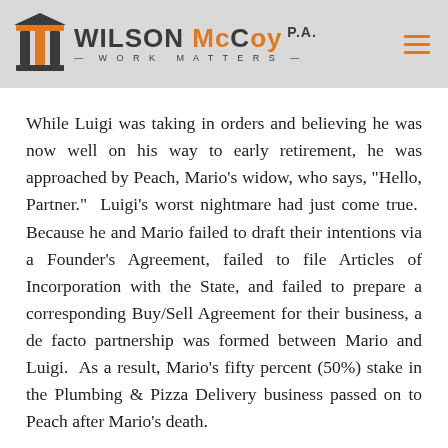Wilson McCoy P.A. — Work Matters
While Luigi was taking in orders and believing he was now well on his way to early retirement, he was approached by Peach, Mario’s widow, who says, “Hello, Partner.”  Luigi’s worst nightmare had just come true.  Because he and Mario failed to draft their intentions via a Founder’s Agreement, failed to file Articles of Incorporation with the State, and failed to prepare a corresponding Buy/Sell Agreement for their business, a de facto partnership was formed between Mario and Luigi.  As a result, Mario’s fifty percent (50%) stake in the Plumbing & Pizza Delivery business passed on to Peach after Mario’s death.